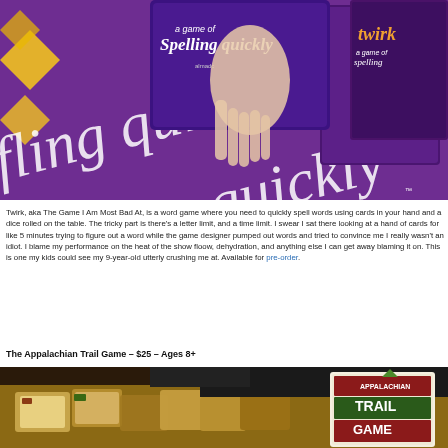[Figure (photo): A purple board game display showing a box being held by a hand. Text on the display reads 'a game of spelling quickly'. Multiple game boxes visible including 'twirk' branded items on a purple background.]
Twirk, aka The Game I Am Most Bad At, is a word game where you need to quickly spell words using cards in your hand and a dice rolled on the table. The tricky part is there's a letter limit, and a time limit. I swear I sat there looking at a hand of cards for like 5 minutes trying to figure out a word while the game designer pumped out words and tried to convince me I really wasn't an idiot. I blame my performance on the heat of the show floow, dehydration, and anything else I can get away blaming it on. This is one my kids could see my 9-year-old utterly crushing me at. Available for pre-order.
The Appalachian Trail Game – $25 – Ages 8+
[Figure (photo): A tabletop display of The Appalachian Trail Game showing cards spread out and the game box which reads 'Appalachian Trail Game'.]